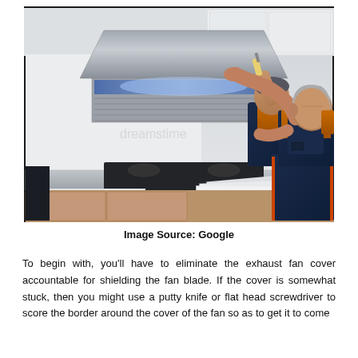[Figure (photo): Two workers in navy blue overalls and orange shirts installing or fixing a range hood/exhaust fan in a kitchen. One worker is using a screwdriver. Papers are on the countertop below the hood.]
Image Source: Google
To begin with, you'll have to eliminate the exhaust fan cover accountable for shielding the fan blade. If the cover is somewhat stuck, then you might use a putty knife or flat head screwdriver to score the border around the cover of the fan so as to get it to come